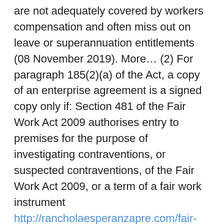are not adequately covered by workers compensation and often miss out on leave or superannuation entitlements (08 November 2019). More… (2) For paragraph 185(2)(a) of the Act, a copy of an enterprise agreement is a signed copy only if: Section 481 of the Fair Work Act 2009 authorises entry to premises for the purpose of investigating contraventions, or suspected contraventions, of the Fair Work Act 2009, or a term of a fair work instrument http://rancholaesperanzapre.com/fair-work-ombudsman-enterprise-agreement-2019/. On 8 June 2006, FIFA requested that all major European leagues, including Italy's Serie A and Spain's La Liga, be reduced to 18 teams by the start of the 200708 season. The Premier League responded by announcing their intention to resist such a reduction.[74] Ultimately, the